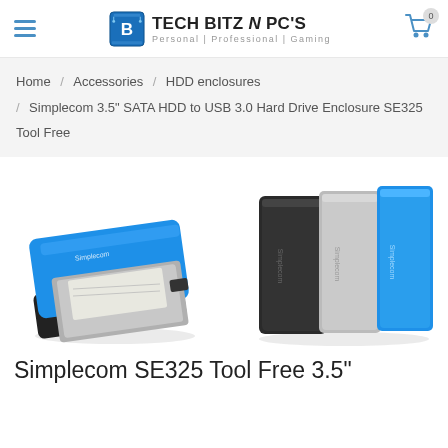Tech Bitz N PC's — Personal | Professional | Gaming
Home / Accessories / HDD enclosures / Simplecom 3.5" SATA HDD to USB 3.0 Hard Drive Enclosure SE325 Tool Free
[Figure (photo): Blue Simplecom SE325 HDD enclosure opened showing a hard drive being inserted, viewed from an angle]
[Figure (photo): Three Simplecom HDD enclosures standing upright in black, silver, and blue colors with Simplecom branding on sides]
Simplecom SE325 Tool Free 3.5"